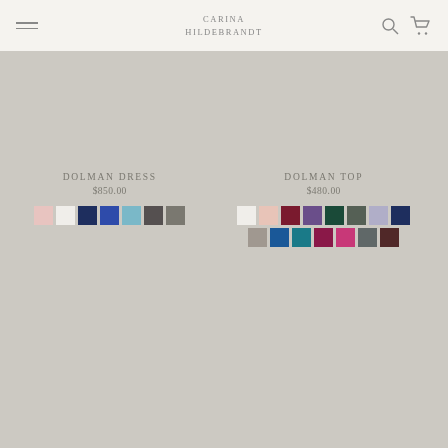CARINA HILDEBRANDT
DOLMAN DRESS
$850.00
DOLMAN TOP
$480.00